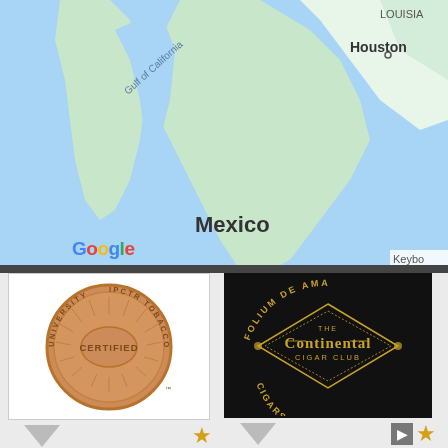[Figure (map): Google Maps screenshot showing Mexico, Gulf of California, Houston TX area with blue water and green/beige land masses. Google logo visible bottom left, 'Keybo' text bottom right, 'Mexico' label center, 'Houston' label top right, 'LOUISIA' top right corner.]
[Figure (logo): IPCTR Certified Tobacconist University bronze coin/seal logo on white background]
[Figure (logo): The Continental Cigar Club logo - gold ornate design on black background. Text: FOLIUM DE AMANTES, THE CONTINENTAL CIGAR CLUB, CIGARS & CIVILITY]
Chris Mccouch, CRT
Certified Retail Tobacconist
Heritage Premium Cigar Shop
Marlton, NJ - United States
P: (856) 988-7665
GET DIRECTIONS
Ian Clark, CRT
Certified Retail Tobacconist
The Continental Cigar Club
Los Angeles, CA - United States
P: (310) 463-9800
GET DIRECTIONS